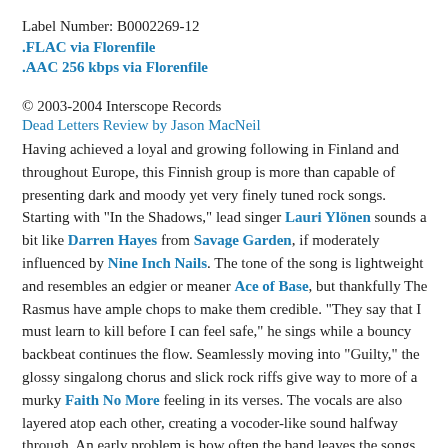Label Number: B0002269-12
.FLAC via Florenfile
.AAC 256 kbps via Florenfile
© 2003-2004 Interscope Records
Dead Letters Review by Jason MacNeil
Having achieved a loyal and growing following in Finland and throughout Europe, this Finnish group is more than capable of presenting dark and moody yet very finely tuned rock songs. Starting with "In the Shadows," lead singer Lauri Ylönen sounds a bit like Darren Hayes from Savage Garden, if moderately influenced by Nine Inch Nails. The tone of the song is lightweight and resembles an edgier or meaner Ace of Base, but thankfully The Rasmus have ample chops to make them credible. "They say that I must learn to kill before I can feel safe," he sings while a bouncy backbeat continues the flow. Seamlessly moving into "Guilty," the glossy singalong chorus and slick rock riffs give way to more of a murky Faith No More feeling in its verses. The vocals are also layered atop each other, creating a vocoder-like sound halfway through. An early problem is how often the band leaves the songs to